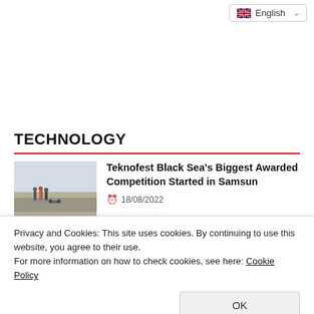English
TECHNOLOGY
Teknofest Black Sea's Biggest Awarded Competition Started in Samsun
18/08/2022
Privacy and Cookies: This site uses cookies. By continuing to use this website, you agree to their use.
For more information on how to check cookies, see here: Cookie Policy
Installation of Turbine Equipments Started